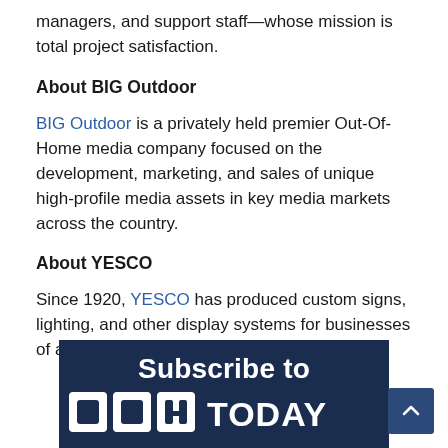managers, and support staff—whose mission is total project satisfaction.
About BIG Outdoor
BIG Outdoor is a privately held premier Out-Of-Home media company focused on the development, marketing, and sales of unique high-profile media assets in key media markets across the country.
About YESCO
Since 1920, YESCO has produced custom signs, lighting, and other display systems for businesses of all types and sizes.
[Figure (screenshot): Dark navy blue banner with 'Subscribe to OOH TODAY' text in white, partially visible at bottom of page. A scroll-to-top button with upward arrow is visible at bottom right.]